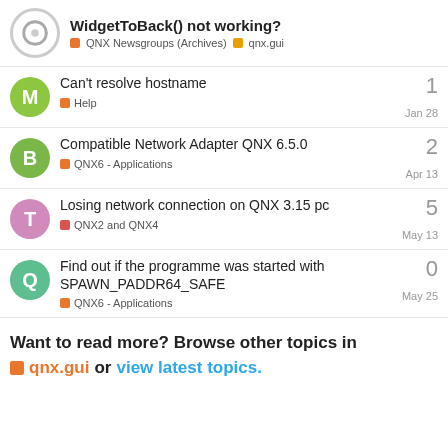WidgetToBack() not working? | QNX Newsgroups (Archives) | qnx.gui
Can't resolve hostname | Help | Jan 28 | replies: 1
Compatible Network Adapter QNX 6.5.0 | QNX6 - Applications | Apr 13 | replies: 2
Losing network connection on QNX 3.15 pc | QNX2 and QNX4 | May 13 | replies: 5
Find out if the programme was started with SPAWN_PADDR64_SAFE | QNX6 - Applications | May 25 | replies: 0
Want to read more? Browse other topics in qnx.gui or view latest topics.